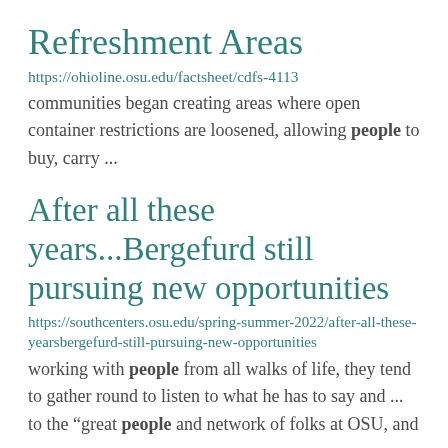Refreshment Areas
https://ohioline.osu.edu/factsheet/cdfs-4113
communities began creating areas where open container restrictions are loosened, allowing people to buy, carry ...
After all these years...Bergefurd still pursuing new opportunities
https://southcenters.osu.edu/spring-summer-2022/after-all-these-yearsbergefurd-still-pursuing-new-opportunities
working with people from all walks of life, they tend to gather round to listen to what he has to say and ... to the “great people and network of folks at OSU, and